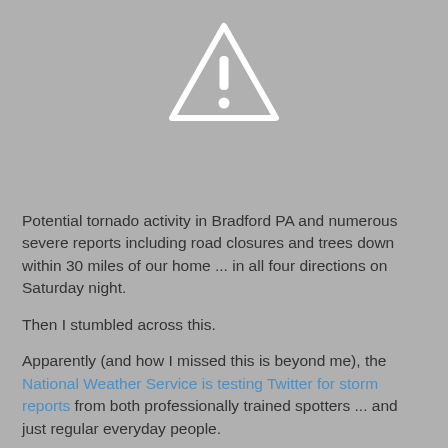[Figure (illustration): White warning/alert triangle icon with exclamation mark on gray background]
Potential tornado activity in Bradford PA and numerous severe reports including road closures and trees down within 30 miles of our home ... in all four directions on Saturday night.
Then I stumbled across this.
Apparently (and how I missed this is beyond me), the National Weather Service is testing Twitter for storm reports from both professionally trained spotters ... and just regular everyday people.
The hashtag is #wxreport and when I back-traced those, it was pretty much all there. Pretty cool stuff.